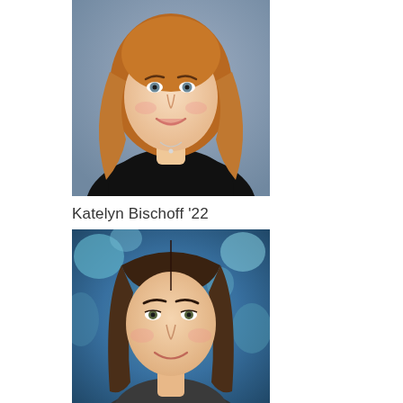[Figure (photo): Portrait photo of a young woman with long blonde/auburn wavy hair, wearing a black top and a small necklace, smiling against a blue-grey background.]
Katelyn Bischoff '22
[Figure (photo): Portrait photo of a young woman with long straight brown hair, smiling, against a colorful blue floral background.]